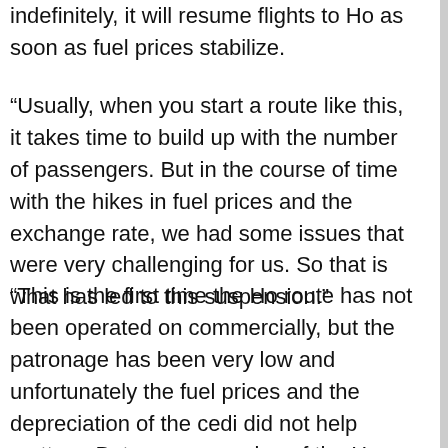indefinitely, it will resume flights to Ho as soon as fuel prices stabilize.
“Usually, when you start a route like this, it takes time to build up with the number of passengers. But in the course of time with the hikes in fuel prices and the exchange rate, we had some issues that were very challenging for us. So that is what has led to this suspension.”
“This is the first time the Ho route has not been operated on commercially, but the patronage has been very low and unfortunately the fuel prices and the depreciation of the cedi did not help matters. But our suspension of the Ho route is not permanent. It has been suspended for now and the company is assessing the situation to ascertain the way forward.”